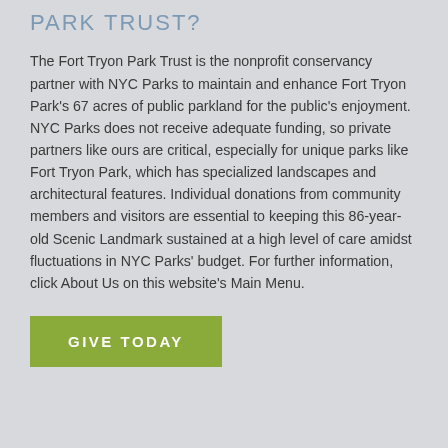PARK TRUST?
The Fort Tryon Park Trust is the nonprofit conservancy partner with NYC Parks to maintain and enhance Fort Tryon Park's 67 acres of public parkland for the public's enjoyment. NYC Parks does not receive adequate funding, so private partners like ours are critical, especially for unique parks like Fort Tryon Park, which has specialized landscapes and architectural features. Individual donations from community members and visitors are essential to keeping this 86-year-old Scenic Landmark sustained at a high level of care amidst fluctuations in NYC Parks' budget. For further information, click About Us on this website's Main Menu.
GIVE TODAY